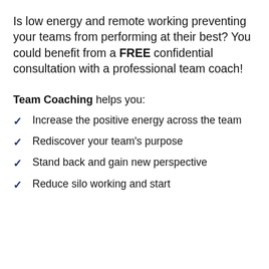Is low energy and remote working preventing your teams from performing at their best? You could benefit from a FREE confidential consultation with a professional team coach!
Team Coaching helps you:
Increase the positive energy across the team
Rediscover your team's purpose
Stand back and gain new perspective
Reduce silo working and start...